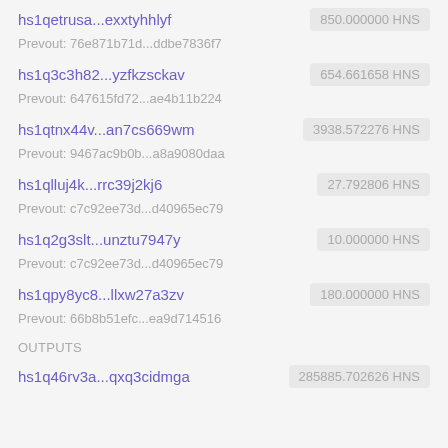hs1qetrusa...exxtyhhlyf   850.000000 HNS
Prevout: 76e871b71d...ddbe7836f7
hs1q3c3h82...yzfkzsckav   654.661658 HNS
Prevout: 647615fd72...ae4b11b224
hs1qtnx44v...an7cs669wm   3938.572276 HNS
Prevout: 9467ac9b0b...a8a9080daa
hs1qlluj4k...rrc39j2kj6   27.792806 HNS
Prevout: c7c92ee73d...d40965ec79
hs1q2g3slt...unztu7947y   10.000000 HNS
Prevout: c7c92ee73d...d40965ec79
hs1qpy8yc8...llxw27a3zv   180.000000 HNS
Prevout: 66b8b51efc...ea9d714516
OUTPUTS
hs1q46rv3a...qxq3cidmga   285885.702626 HNS